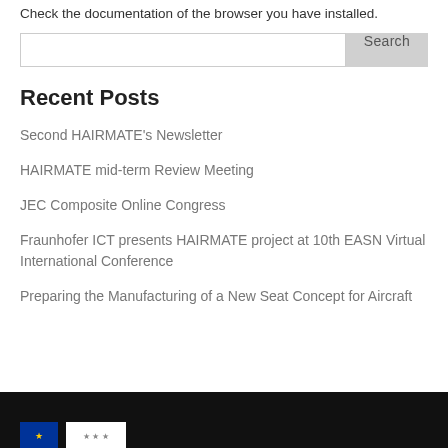Check the documentation of the browser you have installed.
Second HAIRMATE's Newsletter
HAIRMATE mid-term Review Meeting
JEC Composite Online Congress
Fraunhofer ICT presents HAIRMATE project at 10th EASN Virtual International Conference
Preparing the Manufacturing of a New Seat Concept for Aircraft